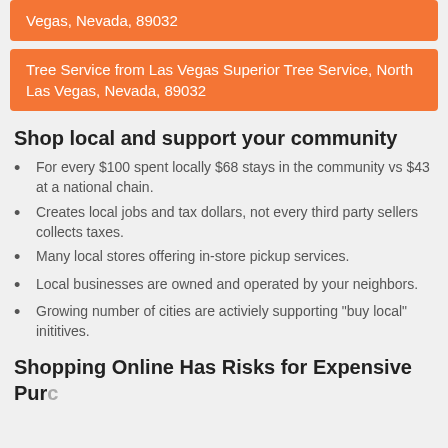Vegas, Nevada, 89032
Tree Service from Las Vegas Superior Tree Service, North Las Vegas, Nevada, 89032
Shop local and support your community
For every $100 spent locally $68 stays in the community vs $43 at a national chain.
Creates local jobs and tax dollars, not every third party sellers collects taxes.
Many local stores offering in-store pickup services.
Local businesses are owned and operated by your neighbors.
Growing number of cities are activiely supporting "buy local" inititives.
Shopping Online Has Risks for Expensive Purchases